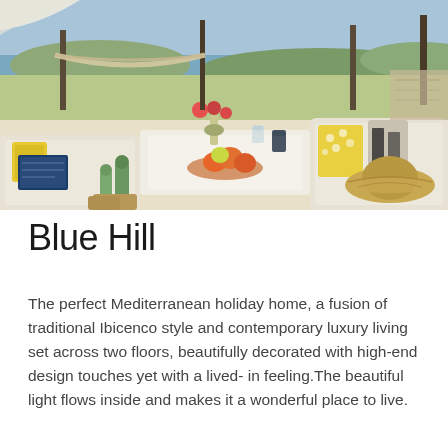[Figure (photo): Outdoor Mediterranean terrace scene with white sofas, colorful cushions, a bowl of oranges and fruit on a white coffee table, small cacti, flowers, and a hammock in background with sea and sky view.]
Blue Hill
The perfect Mediterranean holiday home, a fusion of traditional Ibicenco style and contemporary luxury living set across two floors, beautifully decorated with high-end design touches yet with a lived- in feeling.The beautiful light flows inside and makes it a wonderful place to live.